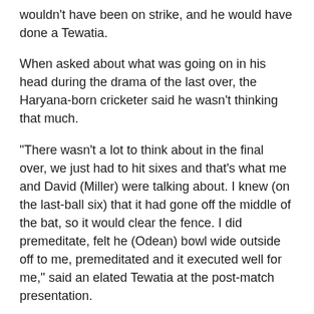wouldn't have been on strike, and he would have done a Tewatia.
When asked about what was going on in his head during the drama of the last over, the Haryana-born cricketer said he wasn't thinking that much.
“There wasn't a lot to think about in the final over, we just had to hit sixes and that’s what me and David (Miller) were talking about. I knew (on the last-ball six) that it had gone off the middle of the bat, so it would clear the fence. I did premeditate, felt he (Odean) bowl wide outside off to me, premeditated and it executed well for me,” said an elated Tewatia at the post-match presentation.
It wasn't for the first time that Tewatia has given a breathtaking performance in the IPL.